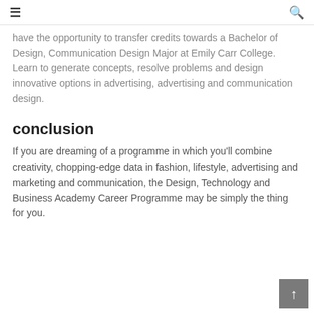≡   🔍
have the opportunity to transfer credits towards a Bachelor of Design, Communication Design Major at Emily Carr College. Learn to generate concepts, resolve problems and design innovative options in advertising, advertising and communication design.
conclusion
If you are dreaming of a programme in which you'll combine creativity, chopping-edge data in fashion, lifestyle, advertising and marketing and communication, the Design, Technology and Business Academy Career Programme may be simply the thing for you.